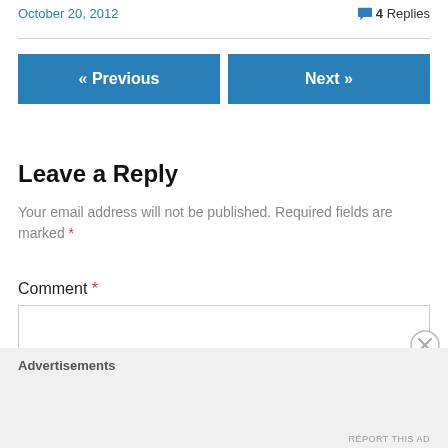October 20, 2012
4 Replies
« Previous
Next »
Leave a Reply
Your email address will not be published. Required fields are marked *
Comment *
Advertisements
REPORT THIS AD